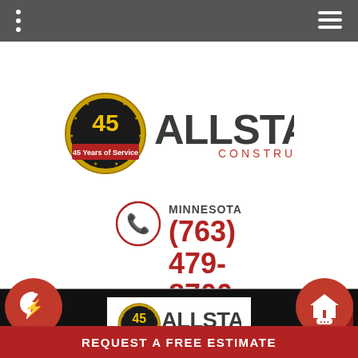[Figure (logo): Allstar Construction logo with 45 Years of Service gold badge]
MINNESOTA
(763) 479-8700
[Figure (logo): Allstar Construction logo smaller version in white box]
REQUEST A FREE ESTIMATE